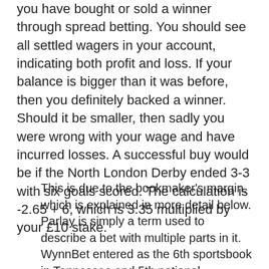you have bought or sold a winner through spread betting. You should see all settled wagers in your account, indicating both profit and loss. If your balance is bigger than it was before, then you definitely backed a winner. Should it be smaller, then sadly you were wrong with your wage and have incurred losses. A successful buy would be if the North London Derby ended 3-3 with six goals scored. The calculation is -2.65 + 6, which is 3.35 multiplied by your £10 stake.
This is due to the bookmaker's margin, which is explained in more detail below. Parlay is simply a term used to describe a bet with multiple parts in it.
WynnBet entered as the 6th sportsbook in Tennessee and 5th national sportsbook.
Odds are assigned to each team based on